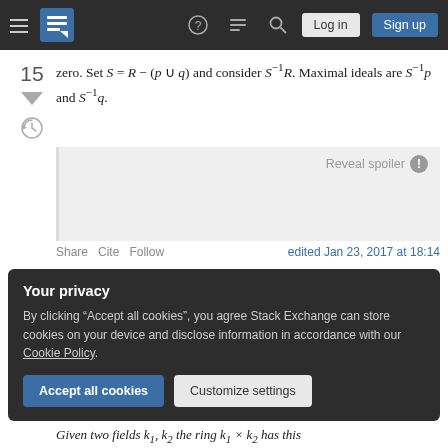Stack Exchange navigation bar with hamburger menu, logo, help, chat, search icons, Log in and Sign up buttons
zero. Set S = R − (p ∪ q) and consider S⁻¹R. Maximal ideals are S⁻¹p and S⁻¹q.
[Figure (other): Spoiler reveal box with 'Reveal spoiler' label and info icon, grey blurred content area]
Share   Cite   Follow   edited Jan 23, 2017 at 18:14
Your privacy
By clicking "Accept all cookies", you agree Stack Exchange can store cookies on your device and disclose information in accordance with our Cookie Policy.
Accept all cookies   Customize settings
Given two fields k₁ k₂ the ring k₁ × k₂ has this